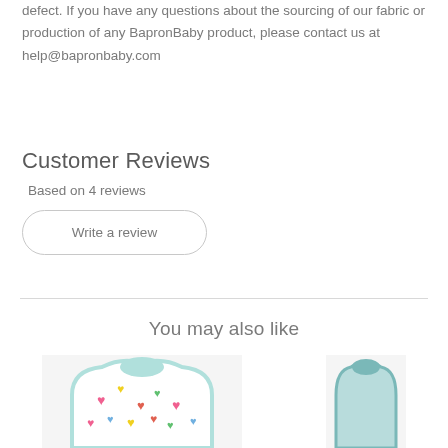defect. If you have any questions about the sourcing of our fabric or production of any BapronBaby product, please contact us at help@bapronbaby.com
Customer Reviews
Based on 4 reviews
Write a review
You may also like
[Figure (photo): Product image of a colorful heart-patterned baby bib/apron with teal trim, partially visible at the bottom of the page]
[Figure (photo): Product image of a teal/blue baby item, partially visible at the bottom right of the page]